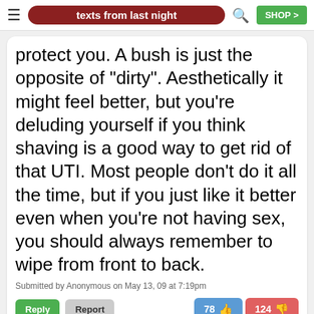texts from last night
protect you. A bush is just the opposite of "dirty". Aesthetically it might feel better, but you're deluding yourself if you think shaving is a good way to get rid of that UTI. Most people don't do it all the time, but if you just like it better even when you're not having sex, you should always remember to wipe from front to back.
Submitted by Anonymous on May 13, 09 at 7:19pm